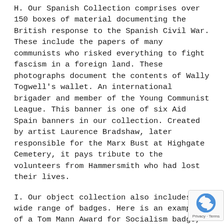H. Our Spanish Collection comprises over 150 boxes of material documenting the British response to the Spanish Civil War. These include the papers of many communists who risked everything to fight fascism in a foreign land. These photographs document the contents of Wally Togwell's wallet. An international brigader and member of the Young Communist League. This banner is one of six Aid Spain banners in our collection. Created by artist Laurence Bradshaw, later responsible for the Marx Bust at Highgate Cemetery, it pays tribute to the volunteers from Hammersmith who had lost their lives.
I. Our object collection also includes a wide range of badges. Here is an example of a Tom Mann Award for Socialism badge, and one celebrating solidarity with Chile.
J. Our pamphlet collection documents Communist Party policy on a wide range of issues including m which resonate today. These examples date back first referendum in Europe in 1975.